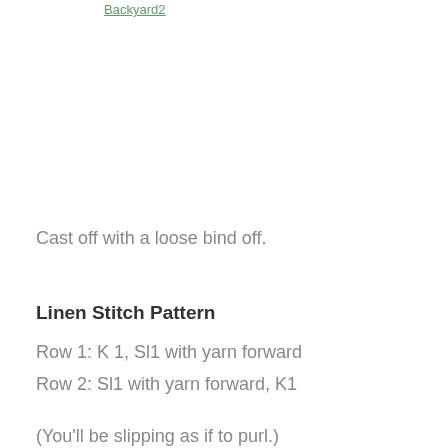[Figure (other): Partial image placeholder with text link 'Backyard2']
Cast off with a loose bind off.
Linen Stitch Pattern
Row 1: K 1, Sl1 with yarn forward
Row 2: Sl1 with yarn forward, K1
(You'll be slipping as if to purl.)